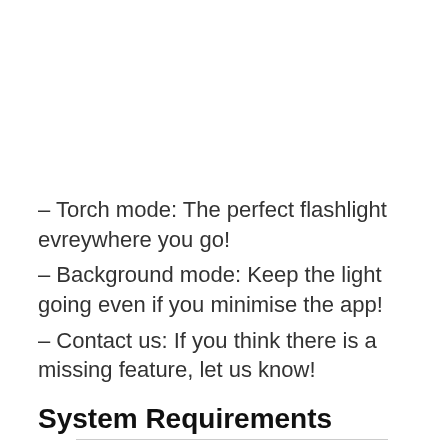– Torch mode: The perfect flashlight evreywhere you go!
– Background mode: Keep the light going even if you minimise the app!
– Contact us: If you think there is a missing feature, let us know!
System Requirements